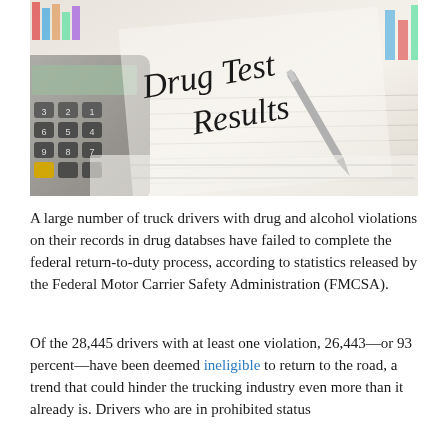[Figure (photo): Close-up photo showing a document with 'Drug Test Results' printed on it, with a calculator on the left and a pen resting on the paper. Colored bar chart is partially visible in the background.]
A large number of truck drivers with drug and alcohol violations on their records in drug databses have failed to complete the federal return-to-duty process, according to statistics released by the Federal Motor Carrier Safety Administration (FMCSA).
Of the 28,445 drivers with at least one violation, 26,443—or 93 percent—have been deemed ineligible to return to the road, a trend that could hinder the trucking industry even more than it already is. Drivers who are in prohibited status